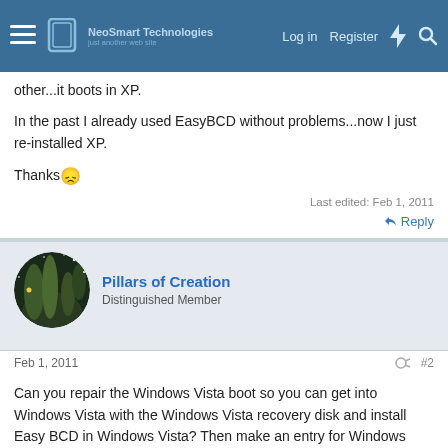NeoSmart Technologies — Log in | Register
other...it boots in XP.
In the past I already used EasyBCD without problems...now I just re-installed XP.
Thanks 😞
Last edited: Feb 1, 2011
↩ Reply
Pillars of Creation
Distinguished Member
Feb 1, 2011  #2
Can you repair the Windows Vista boot so you can get into Windows Vista with the Windows Vista recovery disk and install Easy BCD in Windows Vista? Then make an entry for Windows Vista in easy That BCD.